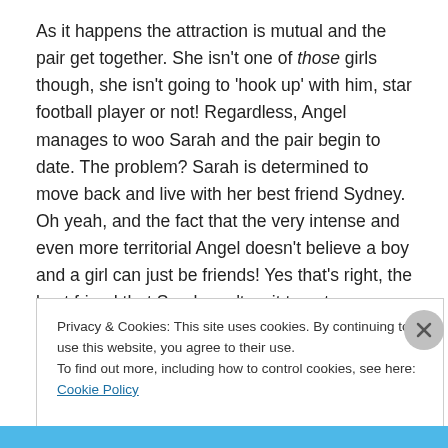As it happens the attraction is mutual and the pair get together. She isn't one of those girls though, she isn't going to 'hook up' with him, star football player or not! Regardless, Angel manages to woo Sarah and the pair begin to date. The problem? Sarah is determined to move back and live with her best friend Sydney. Oh yeah, and the fact that the very intense and even more territorial Angel doesn't believe a boy and a girl can just be friends! Yes that's right, the best friend that Sarah can't wait to get
Privacy & Cookies: This site uses cookies. By continuing to use this website, you agree to their use.
To find out more, including how to control cookies, see here: Cookie Policy
Close and accept